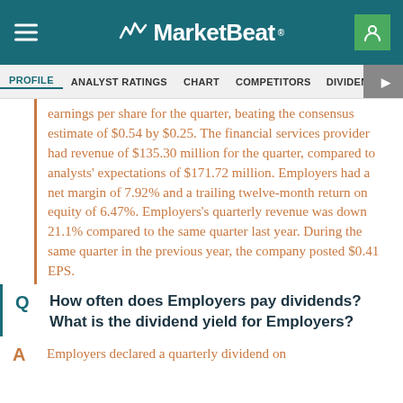MarketBeat
PROFILE  ANALYST RATINGS  CHART  COMPETITORS  DIVIDEND  EARNINGS
earnings per share for the quarter, beating the consensus estimate of $0.54 by $0.25. The financial services provider had revenue of $135.30 million for the quarter, compared to analysts' expectations of $171.72 million. Employers had a net margin of 7.92% and a trailing twelve-month return on equity of 6.47%. Employers's quarterly revenue was down 21.1% compared to the same quarter last year. During the same quarter in the previous year, the company posted $0.41 EPS.
Q  How often does Employers pay dividends? What is the dividend yield for Employers?
A  Employers declared a quarterly dividend on